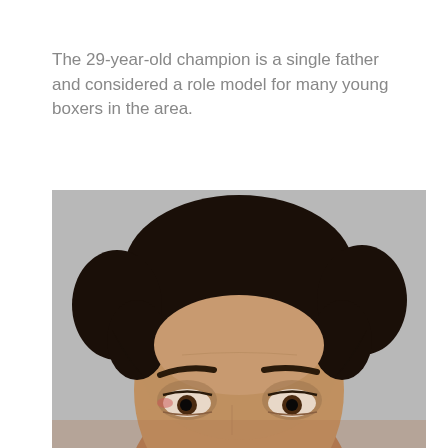The 29-year-old champion is a single father and considered a role model for many young boxers in the area.
[Figure (photo): Close-up mug shot photograph of a young man with curly dark hair, showing his face from the top of the head down to just below the eyes, against a gray background.]